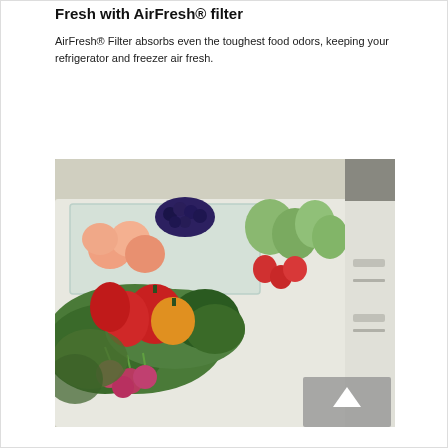Fresh with AirFresh® filter
AirFresh® Filter absorbs even the toughest food odors, keeping your refrigerator and freezer air fresh.
[Figure (photo): Open refrigerator crisper drawer filled with fresh vegetables and fruits including red and yellow bell peppers, parsley, radishes, lettuce, peaches, blueberries, green apples, and strawberries in a clear divided container.]